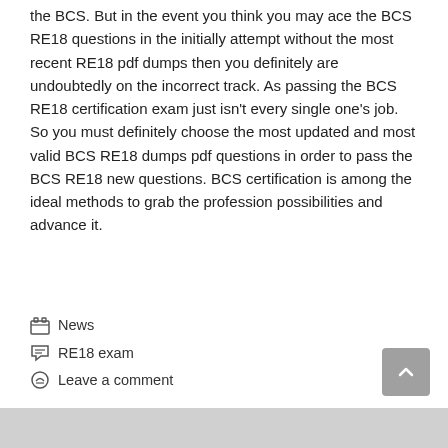the BCS. But in the event you think you may ace the BCS RE18 questions in the initially attempt without the most recent RE18 pdf dumps then you definitely are undoubtedly on the incorrect track. As passing the BCS RE18 certification exam just isn't every single one's job. So you must definitely choose the most updated and most valid BCS RE18 dumps pdf questions in order to pass the BCS RE18 new questions. BCS certification is among the ideal methods to grab the profession possibilities and advance it.
News
RE18 exam
Leave a comment